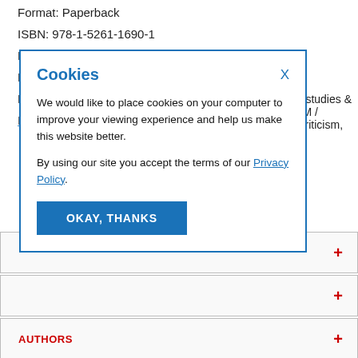Format: Paperback
ISBN: 978-1-5261-1690-1
Pages: 272
Publisher: Manchester University Press
Price: £17.99
Published Date: June 2017
peare studies & TICISM / ry & Criticism,
We would like to place cookies on your computer to improve your viewing experience and help us make this website better.

By using our site you accept the terms of our Privacy Policy.
Cookies
X
OKAY, THANKS
AUTHORS